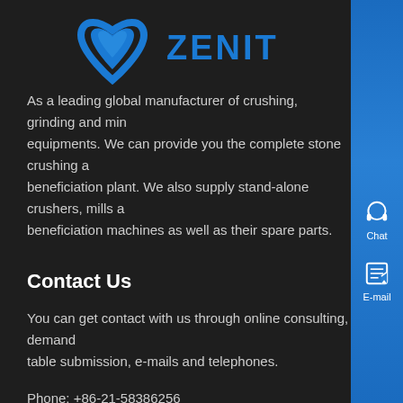[Figure (logo): Zenit company logo — blue arch/arrow icon with ZENIT text in blue capital letters]
As a leading global manufacturer of crushing, grinding and mining equipments. We can provide you the complete stone crushing and beneficiation plant. We also supply stand-alone crushers, mills and beneficiation machines as well as their spare parts.
Contact Us
You can get contact with us through online consulting, demand table submission, e-mails and telephones.
Phone: +86-21-58386256
Fax: +86-21-58383028